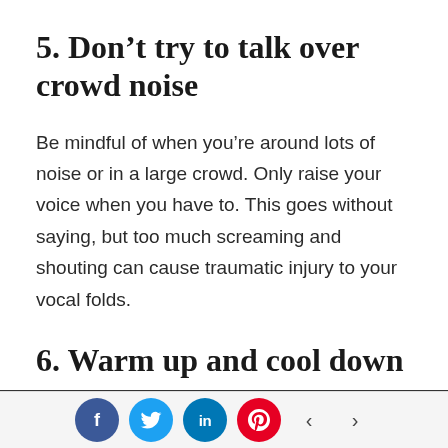5. Don't try to talk over crowd noise
Be mindful of when you're around lots of noise or in a large crowd. Only raise your voice when you have to. This goes without saying, but too much screaming and shouting can cause traumatic injury to your vocal folds.
6. Warm up and cool down
If you know you're going to be using your voice for a long period of time, make time for a
Social share buttons: Facebook, Twitter, LinkedIn, Pinterest. Navigation arrows left and right.